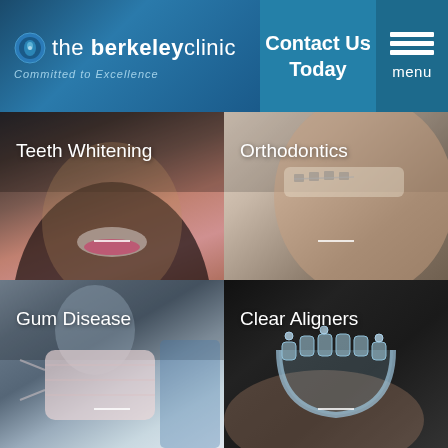[Figure (logo): The Berkeley Clinic logo with circular emblem, text 'the berkeleyclinic' and tagline 'Committed to Excellence' on dark blue gradient background]
Contact Us Today
[Figure (infographic): Hamburger menu icon with three white horizontal lines and 'menu' label on teal background]
[Figure (photo): Teeth Whitening - photo of smiling woman with bright white teeth and pink lipstick, with white text overlay]
[Figure (photo): Orthodontics - close-up photo of person with dental braces visible on teeth, with white text overlay]
[Figure (photo): Gum Disease - photo of person wearing surgical face mask, with white text overlay]
[Figure (photo): Clear Aligners - photo of clear dental aligner tray held in hand against dark background, with white text overlay]